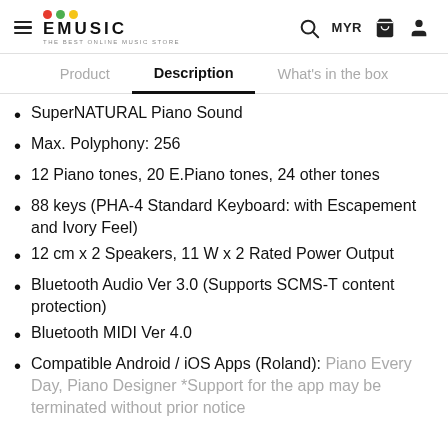EMUSIC — THE BEST ONLINE MUSIC STORE
Description
SuperNATURAL Piano Sound
Max. Polyphony: 256
12 Piano tones, 20 E.Piano tones, 24 other tones
88 keys (PHA-4 Standard Keyboard: with Escapement and Ivory Feel)
12 cm x 2 Speakers, 11 W x 2 Rated Power Output
Bluetooth Audio Ver 3.0 (Supports SCMS-T content protection)
Bluetooth MIDI Ver 4.0
Compatible Android / iOS Apps (Roland): Piano Every Day, Piano Designer *Support for the app may be terminated without prior notice